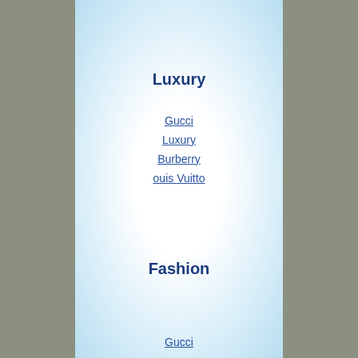Luxury
Gucci
Luxury
Burberry
Louis Vuitto
Fashion
Gucci